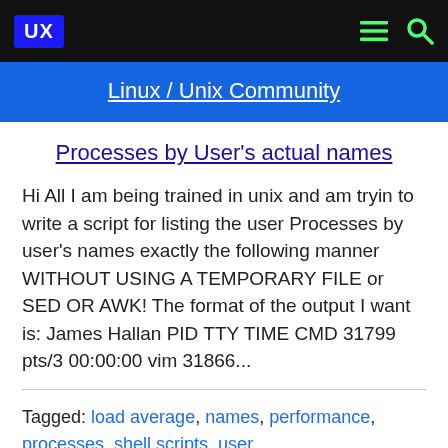UX  [menu icon]  [search icon]
Linux / Unix Community
Processes by User's actual names
Hi All I am being trained in unix and am tryin to write a script for listing the user Processes by user's names exactly the following manner WITHOUT USING A TEMPORARY FILE or SED OR AWK! The format of the output I want is: James Hallan PID TTY TIME CMD 31799 pts/3 00:00:00 vim 31866...
Tagged: load average, names, performance, processes, shell scripts, user